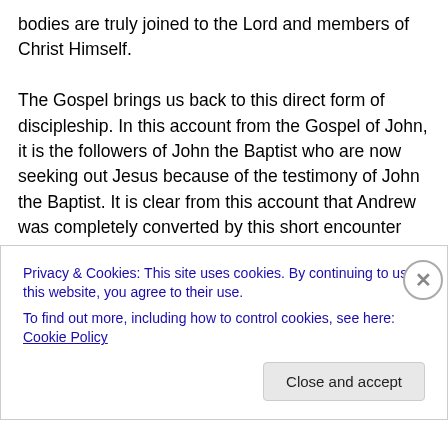bodies are truly joined to the Lord and members of Christ Himself.

The Gospel brings us back to this direct form of discipleship. In this account from the Gospel of John, it is the followers of John the Baptist who are now seeking out Jesus because of the testimony of John the Baptist. It is clear from this account that Andrew was completely converted by this short encounter with Jesus because he goes to his own brother, Simon, and tells him: We have found the Messiah!! We can only imagine the incredible
Privacy & Cookies: This site uses cookies. By continuing to use this website, you agree to their use.
To find out more, including how to control cookies, see here: Cookie Policy